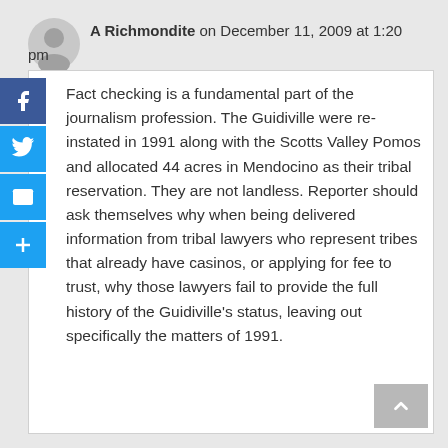A Richmondite on December 11, 2009 at 1:20 pm
Fact checking is a fundamental part of the journalism profession. The Guidiville were re-instated in 1991 along with the Scotts Valley Pomos and allocated 44 acres in Mendocino as their tribal reservation. They are not landless. Reporter should ask themselves why when being delivered information from tribal lawyers who represent tribes that already have casinos, or applying for fee to trust, why those lawyers fail to provide the full history of the Guidiville's status, leaving out specifically the matters of 1991.